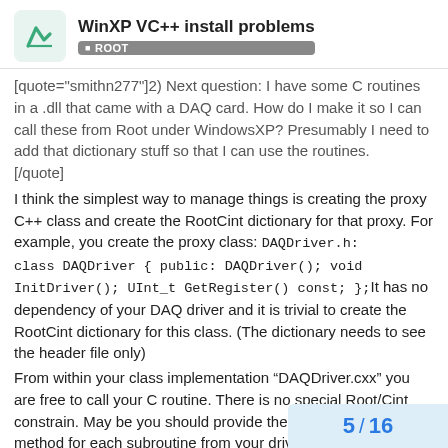WinXP VC++ install problems | ROOT
[quote="smithn277"]2) Next question: I have some C routines in a .dll that came with a DAQ card. How do I make it so I can call these from Root under WindowsXP? Presumably I need to add that dictionary stuff so that I can use the routines.
[/quote]
I think the simplest way to manage things is creating the proxy C++ class and create the RootCint dictionary for that proxy. For example, you create the proxy class: DAQDriver.h: class DAQDriver { public: DAQDriver(); void InitDriver(); UInt_t GetRegister() const; };It has no dependency of your DAQ driver and it is trivial to create the RootCint dictionary for this class. (The dictionary needs to see the header file only)
From within your class implementation “DAQDriver.cxx” you are free to call your C routine. There is no special Root/Cint constrain. May be you should provide the proxy DAQDriver method for each subroutine from your driver kit.
I would stop at this point because it is harc
5 / 16